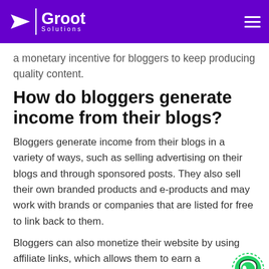Groot Solutions
a monetary incentive for bloggers to keep producing quality content.
How do bloggers generate income from their blogs?
Bloggers generate income from their blogs in a variety of ways, such as selling advertising on their blogs and through sponsored posts. They also sell their own branded products and e-products and may work with brands or companies that are listed for free to link back to them.
Bloggers can also monetize their website by using affiliate links, which allows them to earn a commission when they refer real customers to another company's